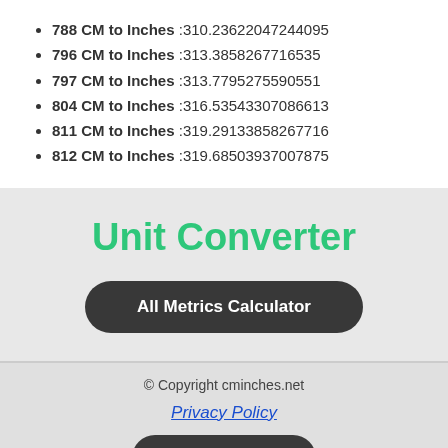788 CM to Inches :310.23622047244095
796 CM to Inches :313.3858267716535
797 CM to Inches :313.7795275590551
804 CM to Inches :316.53543307086613
811 CM to Inches :319.29133858267716
812 CM to Inches :319.68503937007875
Unit Converter
All Metrics Calculator
© Copyright cminches.net
Privacy Policy
Go to ↑ TOP